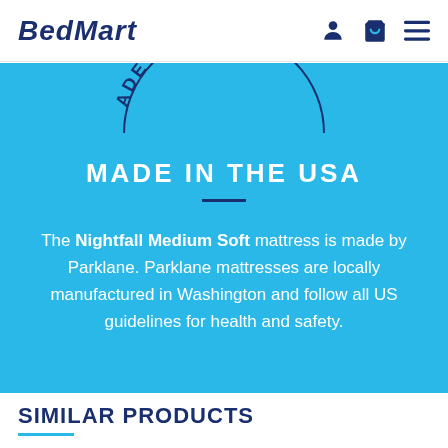BEDMART
[Figure (illustration): Circular stamp arc with text 'MADE IN THE US' curved along the top arc]
MADE IN THE USA
The Nightfall Medium Soft mattress is made by Parklane. Parklane mattresses are locally manufactured in Washington and follow all US guidelines for health and safety.
SIMILAR PRODUCTS